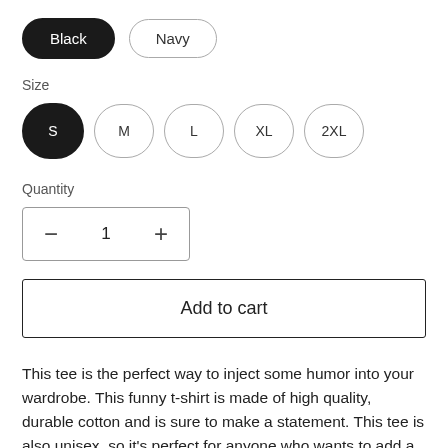Black
Navy
Size
S
M
L
XL
2XL
Quantity
1
Add to cart
This tee is the perfect way to inject some humor into your wardrobe. This funny t-shirt is made of high quality, durable cotton and is sure to make a statement. This tee is also unisex, so it's perfect for anyone who wants to add a little bit of humor to their